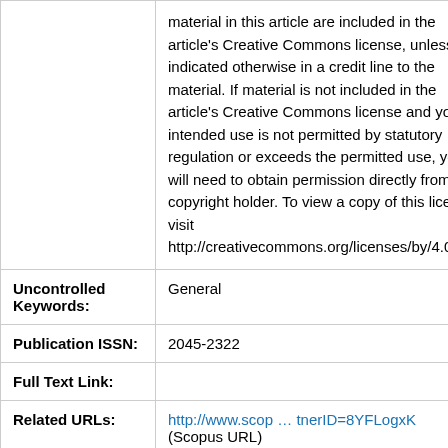|  | material in this article are included in the article's Creative Commons license, unless indicated otherwise in a credit line to the material. If material is not included in the article's Creative Commons license and your intended use is not permitted by statutory regulation or exceeds the permitted use, you will need to obtain permission directly from the copyright holder. To view a copy of this license, visit http://creativecommons.org/licenses/by/4.0/. |
| Uncontrolled Keywords: | General |
| Publication ISSN: | 2045-2322 |
| Full Text Link: |  |
| Related URLs: | http://www.scop … tnerID=8YFLogxK
(Scopus URL) |